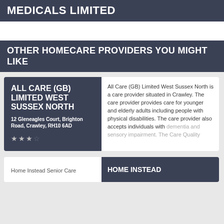MEDICALS LIMITED
OTHER HOMECARE PROVIDERS YOU MIGHT LIKE
ALL CARE (GB) LIMITED WEST SUSSEX NORTH
12 Gleneagles Court, Brighton Road, Crawley, RH10 6AD
★★★☆
All Care (GB) Limited West Sussex North is a care provider situated in Crawley. The care provider provides care for younger and elderly adults including people with physical disabilities. The care provider also accepts individuals with dementia and sensory impairment. The Care Quality...
Home Instead Senior Care
HOME INSTEAD